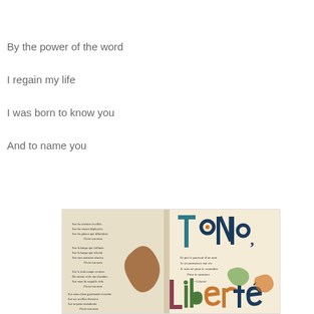By the power of the word
I regain my life
I was born to know you
And to name you
[Figure (photo): An open illustrated book showing French text (possibly Paul Éluard's poem 'Liberté') with colorful decorative lettering spelling 'Liberté' in teal, dark blue, green, brown, and orange tones. The pages contain handwritten-style French verse.]